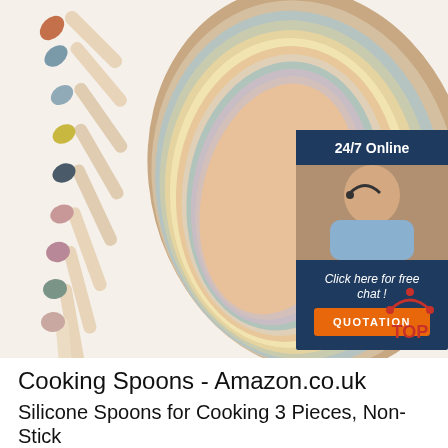[Figure (photo): Product photo showing colorful silicone and wooden baby spoons fanned out on a white background, alongside stacked silicone bibs in multiple pastel and earth-tone colors. An overlay in the top-right shows a dark navy chat widget with '24/7 Online' label, a customer service representative photo, 'Click here for free chat!' text, and an orange 'QUOTATION' button. Bottom-right has a red 'TOP' badge with an arch icon.]
Cooking Spoons - Amazon.co.uk
Silicone Spoons for Cooking 3 Pieces, Non-Stick